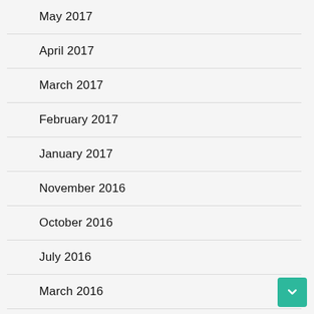May 2017
April 2017
March 2017
February 2017
January 2017
November 2016
October 2016
July 2016
March 2016
May 2015